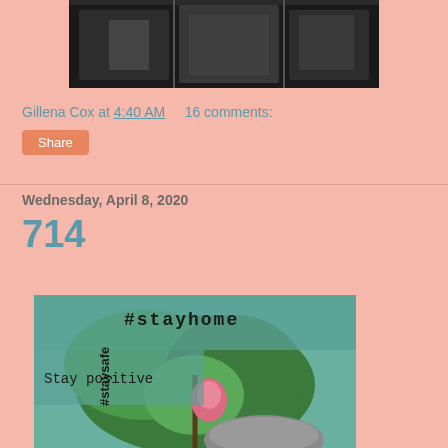[Figure (photo): Partial view of a room/furniture photograph, dark background, visible at top of page cropped]
Gillena Cox at 4:40 AM    16 comments:
Share
Wednesday, April 8, 2020
714
[Figure (photo): Photo of a plant with green leaves and a pink flower bud, overlaid with text: #stayhome, Stay positive, #staysafe]